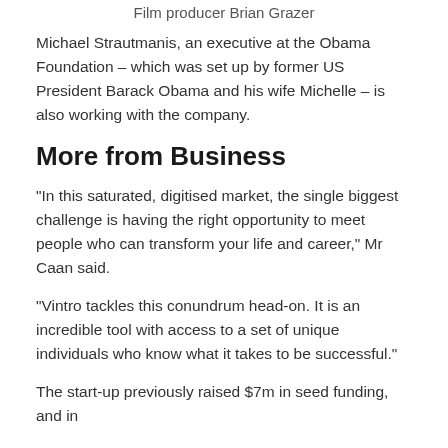Film producer Brian Grazer
Michael Strautmanis, an executive at the Obama Foundation – which was set up by former US President Barack Obama and his wife Michelle – is also working with the company.
More from Business
“In this saturated, digitised market, the single biggest challenge is having the right opportunity to meet people who can transform your life and career,” Mr Caan said.
“Vintro tackles this conundrum head-on. It is an incredible tool with access to a set of unique individuals who know what it takes to be successful.”
The start-up previously raised $7m in seed funding, and in